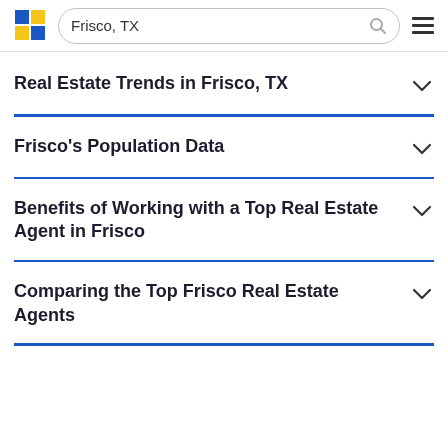Frisco, TX
Real Estate Trends in Frisco, TX
Frisco's Population Data
Benefits of Working with a Top Real Estate Agent in Frisco
Comparing the Top Frisco Real Estate Agents